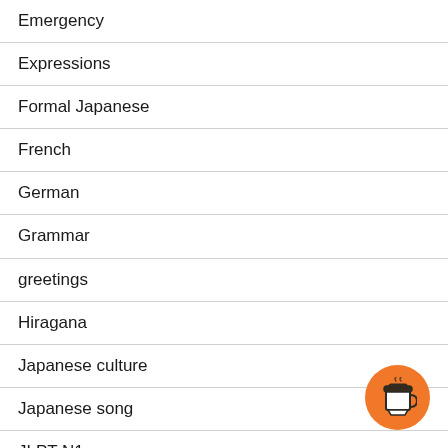Emergency
Expressions
Formal Japanese
French
German
Grammar
greetings
Hiragana
Japanese culture
Japanese song
JLPT N1
[Figure (illustration): Orange circular button with a coffee cup icon]